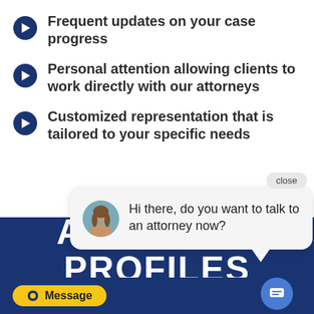Frequent updates on your case progress
Personal attention allowing clients to work directly with our attorneys
Customized representation that is tailored to your specific needs
[Figure (screenshot): Chat popup widget showing avatar of a woman and message: 'Hi there, do you want to talk to an attorney now?' with a close button]
ATTORNEY PROFILES
Message